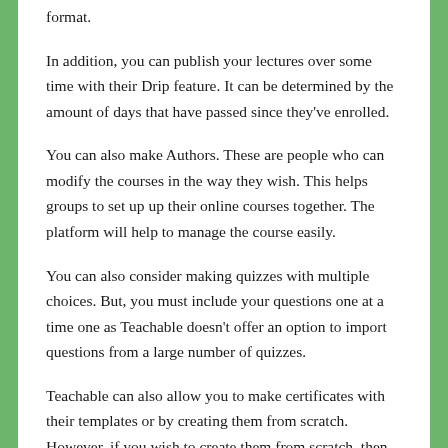format.
In addition, you can publish your lectures over some time with their Drip feature. It can be determined by the amount of days that have passed since they've enrolled.
You can also make Authors. These are people who can modify the courses in the way they wish. This helps groups to set up up their online courses together. The platform will help to manage the course easily.
You can also consider making quizzes with multiple choices. But, you must include your questions one at a time one as Teachable doesn't offer an option to import questions from a large number of quizzes.
Teachable can also allow you to make certificates with their templates or by creating them from scratch. However, if you wish to create them from scratch, then you must learn to do